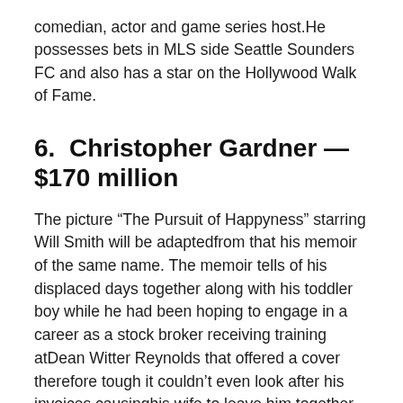comedian, actor and game series host.He possesses bets in MLS side Seattle Sounders FC and also has a star on the Hollywood Walk of Fame.
6.  Christopher Gardner — $170 million
The picture “The Pursuit of Happyness” starring Will Smith will be adaptedfrom that his memoir of the same name. The memoir tells of his displaced days together along with his toddler boy while he had been hoping to engage in a career as a stock broker receiving training atDean Witter Reynolds that offered a cover therefore tough it couldn’t even look after his invoices causinghis wife to leave him together along with his son. After fighting his you the and